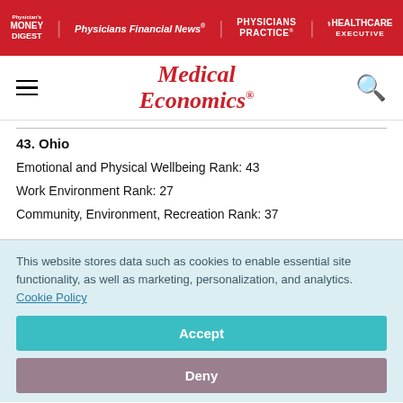Physician's Money Digest | Physicians Financial News | Physicians Practice | Healthcare Executive
[Figure (logo): Medical Economics logo in red italic serif font with navigation hamburger menu and search icon]
43. Ohio
Emotional and Physical Wellbeing Rank: 43
Work Environment Rank: 27
Community, Environment, Recreation Rank: 37
This website stores data such as cookies to enable essential site functionality, as well as marketing, personalization, and analytics. Cookie Policy
Accept
Deny